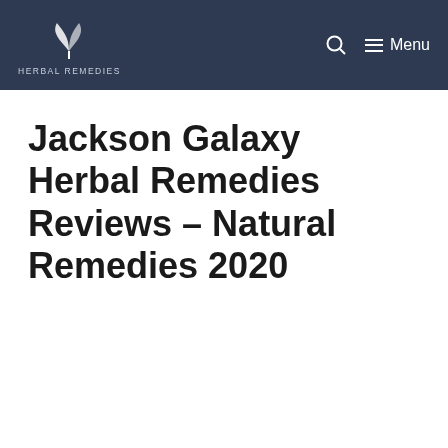Herbal Remedies — Menu
Jackson Galaxy Herbal Remedies Reviews – Natural Remedies 2020
Common Cold